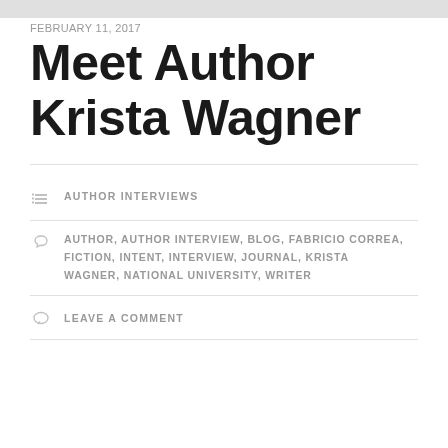FEBRUARY 11, 2017
Meet Author Krista Wagner
AUTHOR INTERVIEWS
AUTHOR, AUTHOR INTERVIEW, BLOG, FABRICIO CORREA, FICTION, INTENT, INTERVIEW, JOURNAL, KRISTA WAGNER, NATIONAL UNIVERSITY, WRITER
LEAVE A COMMENT